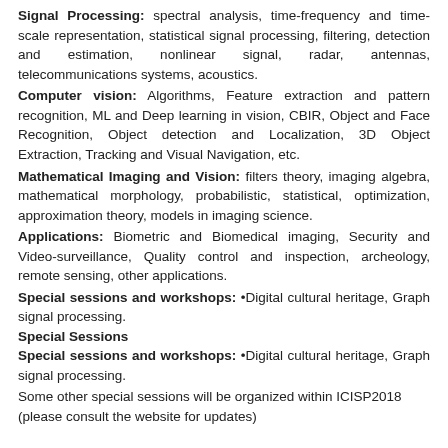Signal Processing: spectral analysis, time-frequency and time-scale representation, statistical signal processing, filtering, detection and estimation, nonlinear signal, radar, antennas, telecommunications systems, acoustics.
Computer vision: Algorithms, Feature extraction and pattern recognition, ML and Deep learning in vision, CBIR, Object and Face Recognition, Object detection and Localization, 3D Object Extraction, Tracking and Visual Navigation, etc.
Mathematical Imaging and Vision: filters theory, imaging algebra, mathematical morphology, probabilistic, statistical, optimization, approximation theory, models in imaging science.
Applications: Biometric and Biomedical imaging, Security and Video-surveillance, Quality control and inspection, archeology, remote sensing, other applications.
Special sessions and workshops: •Digital cultural heritage, Graph signal processing.
Special Sessions
Special sessions and workshops: •Digital cultural heritage, Graph signal processing.
Some other special sessions will be organized within ICISP2018 (please consult the website for updates)